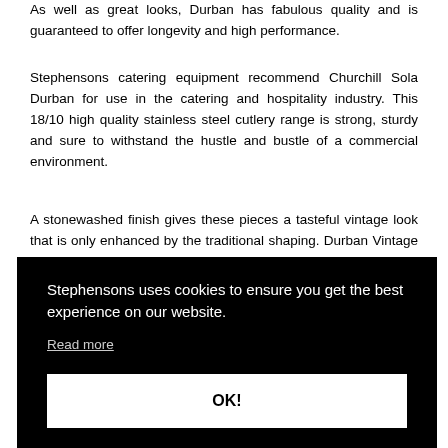As well as great looks, Durban has fabulous quality and is guaranteed to offer longevity and high performance.
Stephensons catering equipment recommend Churchill Sola Durban for use in the catering and hospitality industry. This 18/10 high quality stainless steel cutlery range is strong, sturdy and sure to withstand the hustle and bustle of a commercial environment.
A stonewashed finish gives these pieces a tasteful vintage look that is only enhanced by the traditional shaping. Durban Vintage truly is a cutlery range that has looked to the past to create a product that suits the present.
Stephensons uses cookies to ensure you get the best experience on our website. Read more OK!